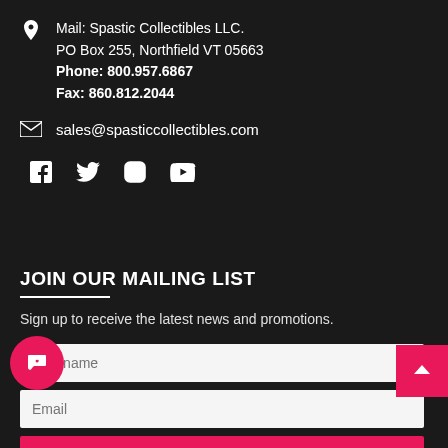Mail: Spastic Collectibles LLC.
PO Box 255, Northfield VT 05663
Phone: 800.957.6867
Fax: 860.812.2044
sales@spasticcollectibles.com
[Figure (infographic): Social media icons: Facebook, Twitter, Instagram, YouTube]
JOIN OUR MAILING LIST
Sign up to receive the latest news and promotions.
First name
Email
Subscribe